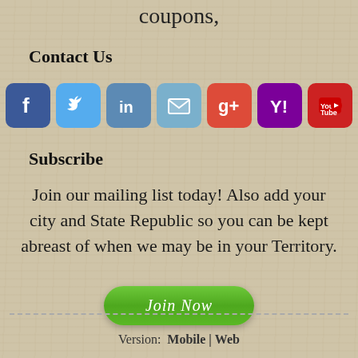coupons,
Contact Us
[Figure (infographic): Row of 7 social media icon buttons: Facebook (blue), Twitter (light blue), LinkedIn (steel blue), Email (teal), Google+ (red), Yahoo (purple), YouTube (red)]
Subscribe
Join our mailing list today!  Also add your city and State Republic so you can be kept abreast of when we may be in your Territory.
[Figure (other): Green rounded button labeled 'Join Now' in italic white text]
Version:  Mobile | Web